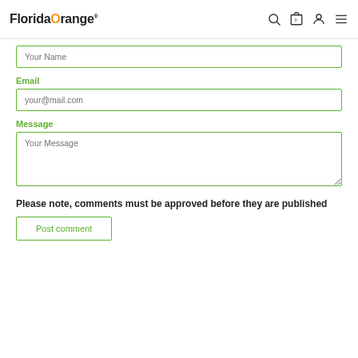FloridaOrange®
Your Name
Email
your@mail.com
Message
Your Message
Please note, comments must be approved before they are published
Post comment